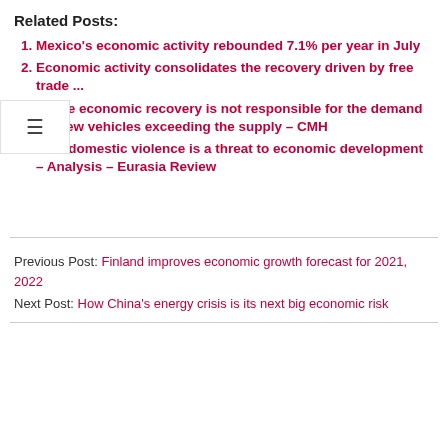Related Posts:
Mexico's economic activity rebounded 7.1% per year in July
Economic activity consolidates the recovery driven by free trade ...
The economic recovery is not responsible for the demand for new vehicles exceeding the supply – CMH
How domestic violence is a threat to economic development – Analysis – Eurasia Review
Previous Post: Finland improves economic growth forecast for 2021, 2022
Next Post: How China's energy crisis is its next big economic risk